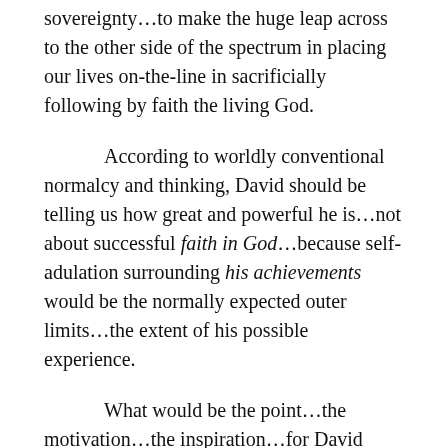sovereignty…to make the huge leap across to the other side of the spectrum in placing our lives on-the-line in sacrificially following by faith the living God.
According to worldly conventional normalcy and thinking, David should be telling us how great and powerful he is…not about successful faith in God…because self-adulation surrounding his achievements would be the normally expected outer limits…the extent of his possible experience.
What would be the point…the motivation…the inspiration…for David making this Psalm 23 up…if the actual boundaries of